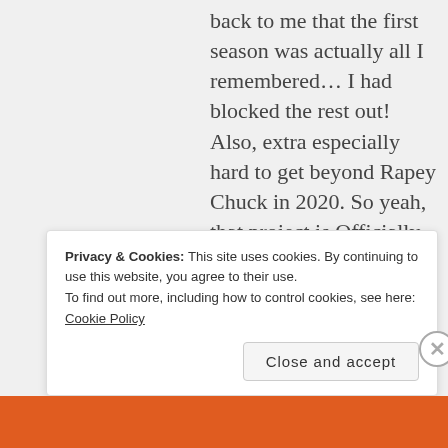back to me that the first season was actually all I remembered… I had blocked the rest out! Also, extra especially hard to get beyond Rapey Chuck in 2020. So yeah, that project is Officially Abandoned!!
★ Liked by 1 person
Privacy & Cookies: This site uses cookies. By continuing to use this website, you agree to their use. To find out more, including how to control cookies, see here: Cookie Policy
Close and accept